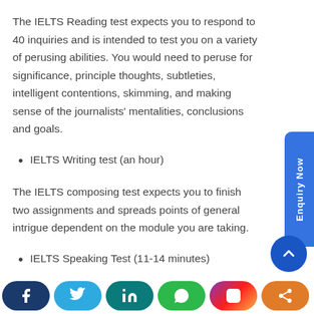The IELTS Reading test expects you to respond to 40 inquiries and is intended to test you on a variety of perusing abilities. You would need to peruse for significance, principle thoughts, subtleties, intelligent contentions, skimming, and making sense of the journalists' mentalities, conclusions and goals.
IELTS Writing test (an hour)
The IELTS composing test expects you to finish two assignments and spreads points of general intrigue dependent on the module you are taking.
IELTS Speaking Test (11-14 minutes)